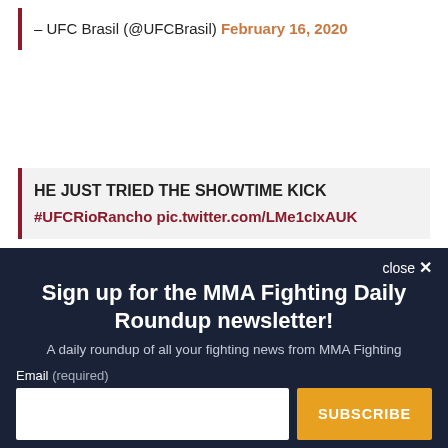– UFC Brasil (@UFCBrasil) February 16, 2020
HE JUST TRIED THE SHOWTIME KICK
#UFCRioRancho pic.twitter.com/LMe1cIxAUK
Sign up for the MMA Fighting Daily Roundup newsletter!
A daily roundup of all your fighting news from MMA Fighting
Email (required)
SUBSCRIBE
By submitting your email, you agree to our Terms and Privacy Notice. You can opt out at any time. This site is protected by reCAPTCHA and the Google Privacy Policy and Terms of Service apply.